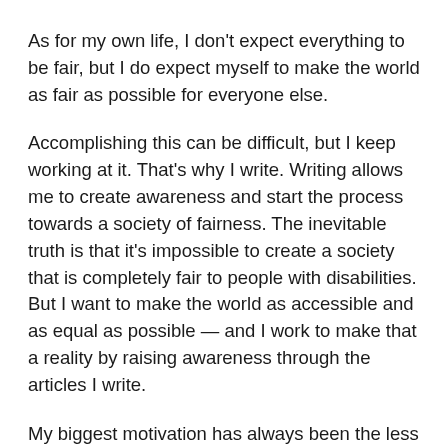As for my own life, I don't expect everything to be fair, but I do expect myself to make the world as fair as possible for everyone else.
Accomplishing this can be difficult, but I keep working at it. That's why I write. Writing allows me to create awareness and start the process towards a society of fairness. The inevitable truth is that it's impossible to create a society that is completely fair to people with disabilities. But I want to make the world as accessible and as equal as possible — and I work to make that a reality by raising awareness through the articles I write.
My biggest motivation has always been the less fortunate. Since falling in love with writing, I have learned it's an avenue for me to speak up for those who can't speak for themselves. I want those who